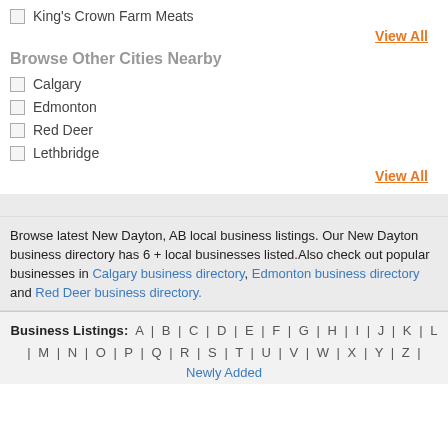King's Crown Farm Meats
View All
Browse Other Cities Nearby
Calgary
Edmonton
Red Deer
Lethbridge
View All
Browse latest New Dayton, AB local business listings. Our New Dayton business directory has 6 + local businesses listed.Also check out popular businesses in Calgary business directory, Edmonton business directory and Red Deer business directory.
Business Listings: A | B | C | D | E | F | G | H | I | J | K | L | M | N | O | P | Q | R | S | T | U | V | W | X | Y | Z | Newly Added